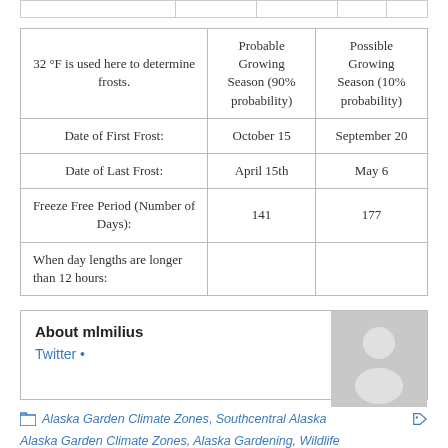|  | Probable Growing Season (90% probability) | Possible Growing Season (10% probability) |
| --- | --- | --- |
| 32 °F is used here to determine frosts. | Probable Growing Season (90% probability) | Possible Growing Season (10% probability) |
| Date of First Frost: | October 15 | September 20 |
| Date of Last Frost: | April 15th | May 6 |
| Freeze Free Period (Number of Days): | 141 | 177 |
| When day lengths are longer than 12 hours: |  |  |
About mlmilius
Twitter •
[Figure (illustration): Generic user avatar placeholder silhouette on grey background]
Alaska Garden Climate Zones, Southcentral Alaska
Alaska Garden Climate Zones, Alaska Gardening, Wildlife